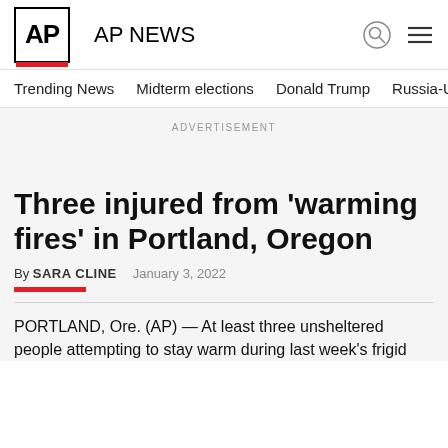AP NEWS
Trending News   Midterm elections   Donald Trump   Russia-Ukr
ADVERTISEMENT
Three injured from ‘warming fires’ in Portland, Oregon
By SARA CLINE   January 3, 2022
PORTLAND, Ore. (AP) — At least three unsheltered people attempting to stay warm during last week’s frigid